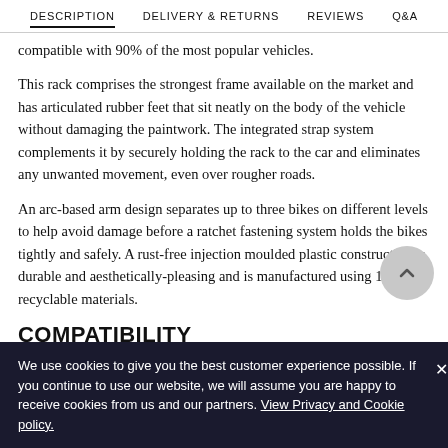DESCRIPTION   DELIVERY & RETURNS   REVIEWS   Q&A
compatible with 90% of the most popular vehicles.
This rack comprises the strongest frame available on the market and has articulated rubber feet that sit neatly on the body of the vehicle without damaging the paintwork. The integrated strap system complements it by securely holding the rack to the car and eliminates any unwanted movement, even over rougher roads.
An arc-based arm design separates up to three bikes on different levels to help avoid damage before a ratchet fastening system holds the bikes tightly and safely. A rust-free injection moulded plastic construction is durable and aesthetically-pleasing and is manufactured using 100% recyclable materials.
COMPATIBILITY
We use cookies to give you the best customer experience possible. If you continue to use our website, we will assume you are happy to receive cookies from us and our partners. View Privacy and Cookie policy.